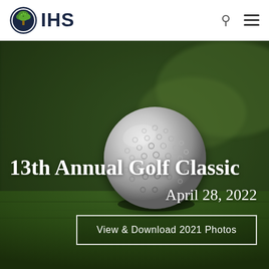[Figure (logo): IHS logo with green tree icon and dark blue IHS text]
IHS — navigation header with search and menu icons
[Figure (photo): Close-up photo of a golf ball resting on green grass, dark blurred background]
13th Annual Golf Classic
April 28, 2022
View & Download 2021 Photos